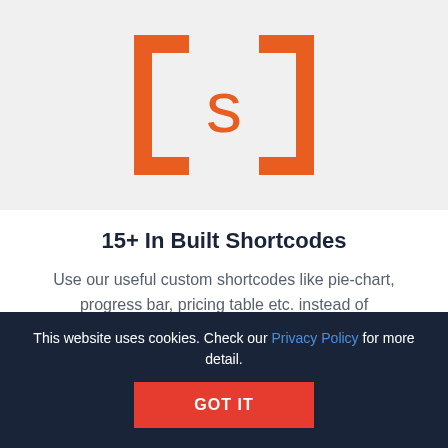[Figure (logo): Orange bracket logo with [s] symbol on light gray background]
15+ In Built Shortcodes
Use our useful custom shortcodes like pie-chart, progress bar, pricing table etc. instead of
This website uses cookies. Check our Privacy Policy for more detail.
GOT IT